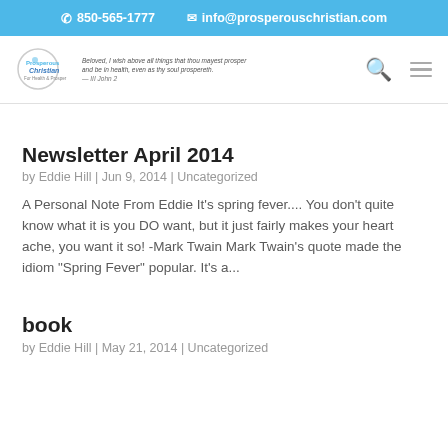850-565-1777   info@prosperouschristian.com
[Figure (logo): Prosperous Christian website logo with tagline text and navigation icons including search and hamburger menu]
Newsletter April 2014
by Eddie Hill | Jun 9, 2014 | Uncategorized
A Personal Note From Eddie It's spring fever.... You don't quite know what it is you DO want, but it just fairly makes your heart ache, you want it so! -Mark Twain Mark Twain's quote made the idiom "Spring Fever" popular. It's a...
book
by Eddie Hill | May 21, 2014 | Uncategorized